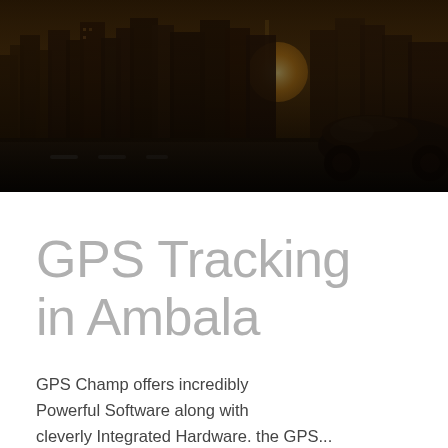[Figure (photo): Dark atmospheric photo of a car driving at night with a city skyline in the background, warm amber/brown tones with motion blur on the road]
GPS Tracking in Ambala
GPS Champ offers incredibly Powerful Software along with cleverly Integrated Hardware. the GPS...